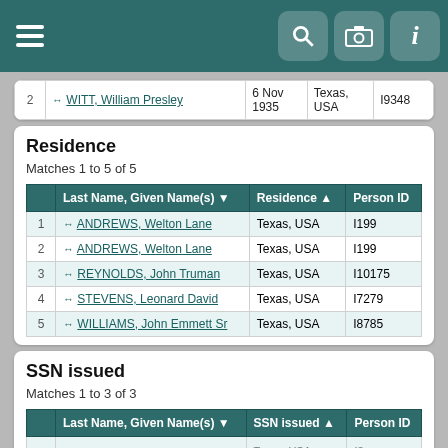|  | Last Name, Given Name(s) | Birth Date | Birth Place | Person ID |
| --- | --- | --- | --- | --- |
| 2 | WITT, William Presley | 6 Nov 1935 | Texas, USA | I9348 |
Residence
Matches 1 to 5 of 5
|  | Last Name, Given Name(s) ▼ | Residence ▲ | Person ID |
| --- | --- | --- | --- |
| 1 | ANDREWS, Welton Lane | Texas, USA | I199 |
| 2 | ANDREWS, Welton Lane | Texas, USA | I199 |
| 3 | REYNOLDS, John Truman | Texas, USA | I10175 |
| 4 | STEVENS, Leonard David | Texas, USA | I7279 |
| 5 | WILLIAMS, John Emmett Sr | Texas, USA | I8785 |
SSN issued
Matches 1 to 3 of 3
|  | Last Name, Given Name(s) ▼ | SSN issued ▲ | Person ID |
| --- | --- | --- | --- |